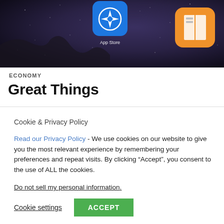[Figure (photo): Close-up photo of a smartphone screen showing iOS app icons including the App Store (blue icon with compass/star symbol) and another orange icon (iBooks/Apple Books), set against a dark starry/galaxy-like wallpaper background.]
ECONOMY
Great Things
Cookie & Privacy Policy
Read our Privacy Policy - We use cookies on our website to give you the most relevant experience by remembering your preferences and repeat visits. By clicking “Accept”, you consent to the use of ALL the cookies.
Do not sell my personal information.
Cookie settings  ACCEPT